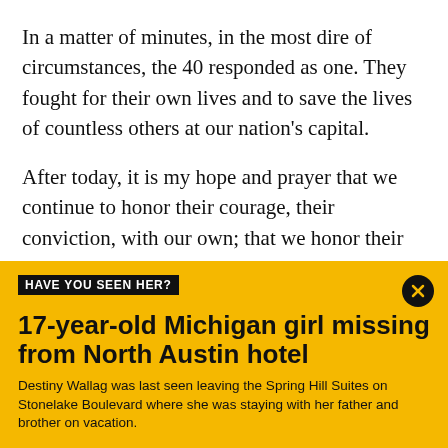In a matter of minutes, in the most dire of circumstances, the 40 responded as one. They fought for their own lives and to save the lives of countless others at our nation's capital.
After today, it is my hope and prayer that we continue to honor their courage, their conviction, with our own; that we honor their unity by strengthening our common bonds, by strengthening our global partnerships, and by always living out our highest
HAVE YOU SEEN HER?
17-year-old Michigan girl missing from North Austin hotel
Destiny Wallag was last seen leaving the Spring Hill Suites on Stonelake Boulevard where she was staying with her father and brother on vacation.